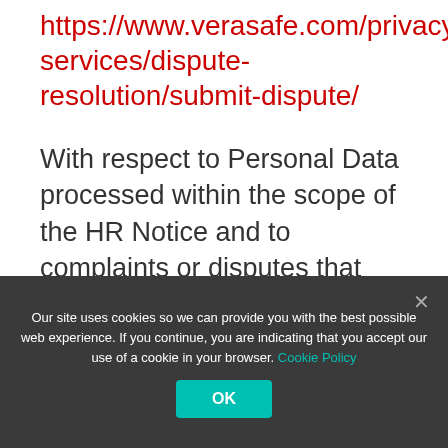https://www.verasafe.com/privacy-services/dispute-resolution/submit-dispute/
With respect to Personal Data processed within the scope of the HR Notice and to complaints or disputes that cannot be resolved through our internal process or VeraSafe's Privacy Shield Dispute Resolution Procedure, we have also agreed to cooperate with the EU data protection authorities and the
Our site uses cookies so we can provide you with the best possible web experience. If you continue, you are indicating that you accept our use of a cookie in your browser. Cookie Policy